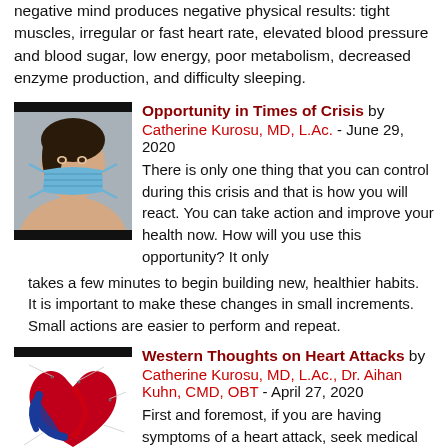negative mind produces negative physical results: tight muscles, irregular or fast heart rate, elevated blood pressure and blood sugar, low energy, poor metabolism, decreased enzyme production, and difficulty sleeping.
Opportunity in Times of Crisis by Catherine Kurosu, MD, L.Ac. - June 29, 2020
[Figure (photo): Woman wearing a blue surgical face mask]
There is only one thing that you can control during this crisis and that is how you will react. You can take action and improve your health now. How will you use this opportunity? It only takes a few minutes to begin building new, healthier habits. It is important to make these changes in small increments. Small actions are easier to perform and repeat.
Western Thoughts on Heart Attacks by Catherine Kurosu, MD, L.Ac., Dr. Aihan Kuhn, CMD, OBT - April 27, 2020
[Figure (illustration): Medical illustration of a human heart showing internal anatomy with red and blue chambers]
First and foremost, if you are having symptoms of a heart attack, seek medical attention immediately. Earlier treatment is associated with better long-term outcomes. No medical provider